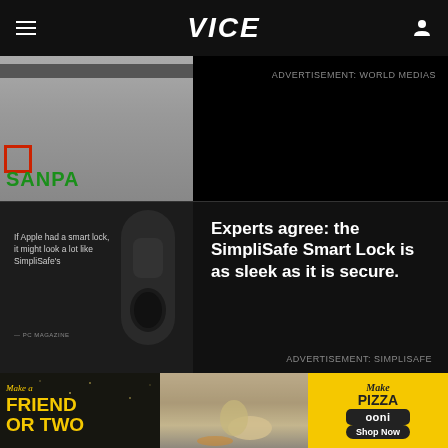VICE
[Figure (photo): Sanpaolo bank sign photo, green letters on building exterior]
ADVERTISEMENT: WORLD MEDIAS
[Figure (photo): SimpliSafe Smart Lock device, black, mounted on dark background with quote: If Apple had a smart lock, it might look a lot like SimpliSafe's — PC MAGAZINE]
Experts agree: the SimpliSafe Smart Lock is as sleek as it is secure.
ADVERTISEMENT: SIMPLISAFE
[Figure (photo): Banner ad: Make a Friend or Two — showing dogs and people at picnic, and Make Pizza Ooni Shop Now on yellow background]